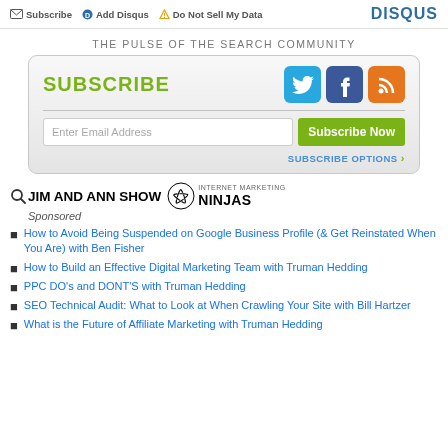Subscribe  Add Disqus  Do Not Sell My Data  DISQUS
THE PULSE OF THE SEARCH COMMUNITY
[Figure (infographic): Subscribe box with SUBSCRIBE text in green, Twitter (blue), Facebook (dark blue), RSS (orange) social icons, email input field, Subscribe Now green button, and SUBSCRIBE OPTIONS link]
[Figure (logo): JIM AND ANN SHOW logo with magnifying glass icon, Sponsored label, and Internet Marketing Ninjas logo with circular swirl icon]
How to Avoid Being Suspended on Google Business Profile (& Get Reinstated When You Are) with Ben Fisher
How to Build an Effective Digital Marketing Team with Truman Hedding
PPC DO's and DONT'S with Truman Hedding
SEO Technical Audit: What to Look at When Crawling Your Site with Bill Hartzer
What is the Future of Affiliate Marketing with Truman Hedding